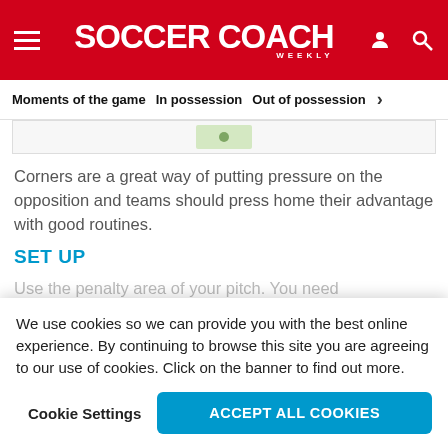SOCCER COACH WEEKLY
Moments of the game  In possession  Out of possession
[Figure (screenshot): Partial image strip showing a soccer drill diagram thumbnail]
Corners are a great way of putting pressure on the opposition and teams should press home their advantage with good routines.
SET UP
Use the penalty area of your pitch. You need
We use cookies so we can provide you with the best online experience. By continuing to browse this site you are agreeing to our use of cookies. Click on the banner to find out more.
Cookie Settings    ACCEPT ALL COOKIES